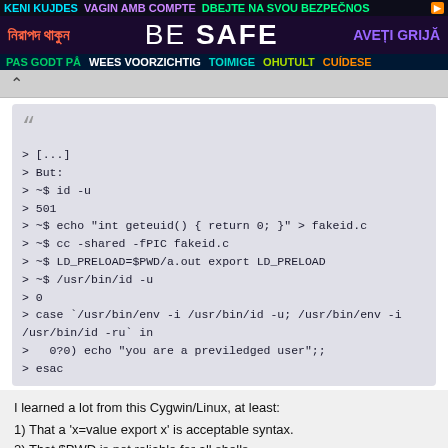[Figure (other): Multilingual safety banner: row 1 with 'KENI KUJDES', 'VAGIN AMB COMPTE', 'DBEJTE NA SVOU BEZPEČNOS'; row 2 with Bengali text, 'BE SAFE', 'AVEȚI GRIJĂ'; row 3 with 'PAS GODT PÅ', 'WEES VOORZICHTIG', 'TOIMIGE OHUTULT', 'CUÍDESE']
“
> [...]
> But:
> ~$ id -u
> 501
> ~$ echo "int geteuid() { return 0; }" > fakeid.c
> ~$ cc -shared -fPIC fakeid.c
> ~$ LD_PRELOAD=$PWD/a.out export LD_PRELOAD
> ~$ /usr/bin/id -u
> 0
> case `/usr/bin/env -i /usr/bin/id -u; /usr/bin/env -i /usr/bin/id -ru` in
>   0?0) echo "you are a previledged user";;
> esac
I learned a lot from this Cygwin/Linux, at least:
1) That a 'x=value export x' is acceptable syntax.
2) That $PWD is not reliable for all shells
Cygwin/sh being the exception.  I prefer